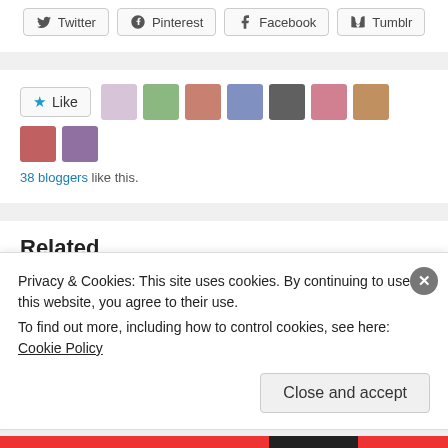[Figure (screenshot): Social share buttons: Twitter, Pinterest, Facebook, Tumblr]
[Figure (screenshot): Like button with star icon and 38 blogger avatars]
38 bloggers like this.
Related
Privacy & Cookies: This site uses cookies. By continuing to use this website, you agree to their use.
To find out more, including how to control cookies, see here: Cookie Policy
Close and accept